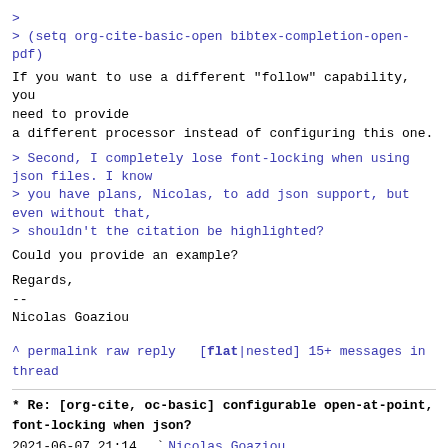> 
> (setq org-cite-basic-open bibtex-completion-open-pdf)
If you want to use a different "follow" capability, you need to provide
a different processor instead of configuring this one.
> Second, I completely lose font-locking when using json files. I know
> you have plans, Nicolas, to add json support, but even without that,
> shouldn't the citation be highlighted?
Could you provide an example?
Regards,
--
Nicolas Goaziou
^ permalink raw reply  [flat|nested] 15+ messages in thread
* Re: [org-cite, oc-basic] configurable open-at-point, font-locking when json?
| Date | Time | User |
| --- | --- | --- |
| 2021-06-07 | 21:14 | Nicolas Goaziou |
| @ 2021-06-07 | 21:27 | Bruce D'Arcus |
| 2021-06-07 | 21:57 | Bruce D'Arcus |
| 2021-06-08 | 9:33 | Nicolas Goaziou |